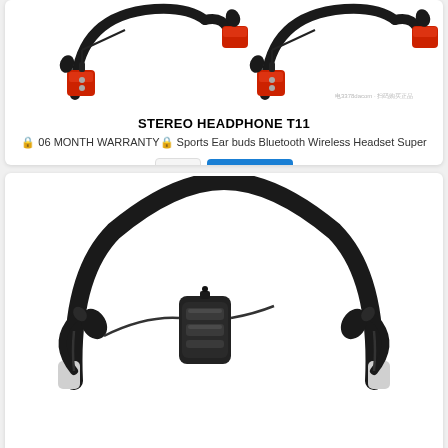[Figure (photo): Two red and black Bluetooth neckband headphones/earbuds shown from the top, with a watermark text in the bottom right]
STEREO HEADPHONE T11
🔒 06 MONTH WARRANTY🔒 Sports Ear buds Bluetooth Wireless Headset Super
[Figure (photo): Black Bluetooth neckband wireless earbuds with control module, shown on white background]